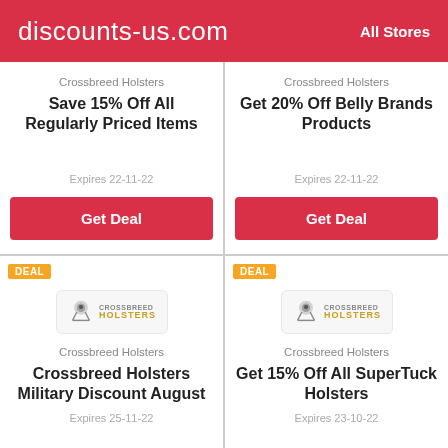discounts-us.com  All Stores
Crossbreed Holsters
Save 15% Off All Regularly Priced Items
Expires 22-11-22
Get Deal
Crossbreed Holsters
Get 20% Off Belly Brands Products
Expires 22-11-22
Get Deal
[Figure (logo): Crossbreed Holsters logo in a white rounded box]
Crossbreed Holsters
Crossbreed Holsters Military Discount August
Expires 25-11-22
[Figure (logo): Crossbreed Holsters logo in a white rounded box]
Crossbreed Holsters
Get 15% Off All SuperTuck Holsters
Expires 23-10-22